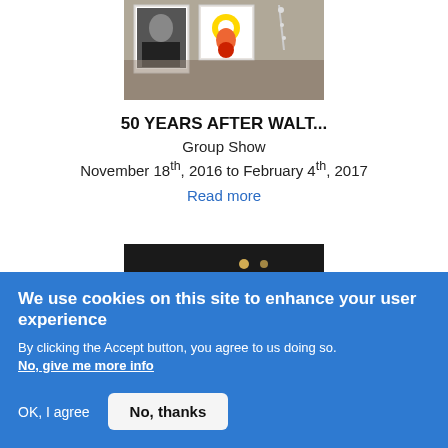[Figure (photo): Gallery interior showing framed artworks on white walls including a portrait photo and a colorful image, with decorative elements]
50 YEARS AFTER WALT...
Group Show
November 18th, 2016 to February 4th, 2017
Read more
[Figure (photo): Dark gallery interior with ceiling lights and white walls]
We use cookies on this site to enhance your user experience
By clicking the Accept button, you agree to us doing so.
No, give me more info
OK, I agree
No, thanks